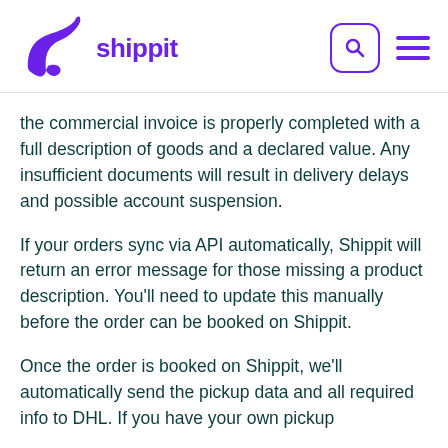[Figure (logo): Shippit logo with purple bird/hat icon and purple text 'shippit']
the commercial invoice is properly completed with a full description of goods and a declared value. Any insufficient documents will result in delivery delays and possible account suspension.
If your orders sync via API automatically, Shippit will return an error message for those missing a product description. You'll need to update this manually before the order can be booked on Shippit.
Once the order is booked on Shippit, we'll automatically send the pickup data and all required info to DHL. If you have your own pickup